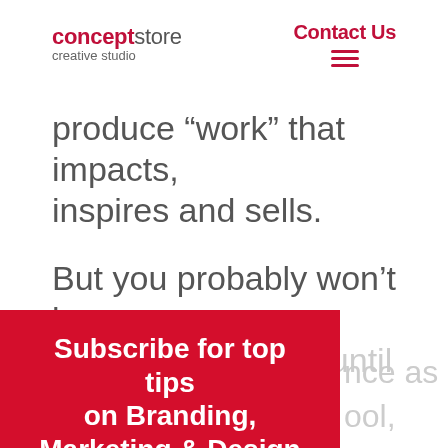conceptstore creative studio | Contact Us
produce “work” that impacts, inspires and sells.
But you probably won’t know or realise any of that until you get
[Figure (other): Red subscription popup overlay with bold white text: Subscribe for top tips on Branding, Marketing & Design, with a Name input field and partial email input below]
ence as
ool,
out